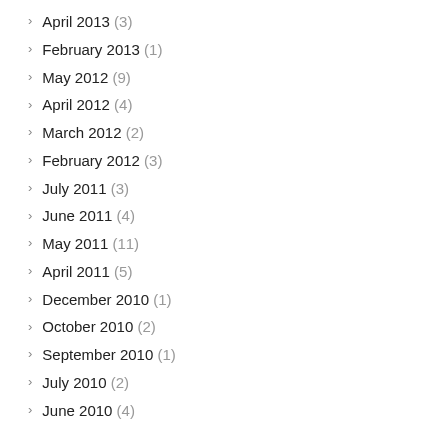April 2013 (3)
February 2013 (1)
May 2012 (9)
April 2012 (4)
March 2012 (2)
February 2012 (3)
July 2011 (3)
June 2011 (4)
May 2011 (11)
April 2011 (5)
December 2010 (1)
October 2010 (2)
September 2010 (1)
July 2010 (2)
June 2010 (4)